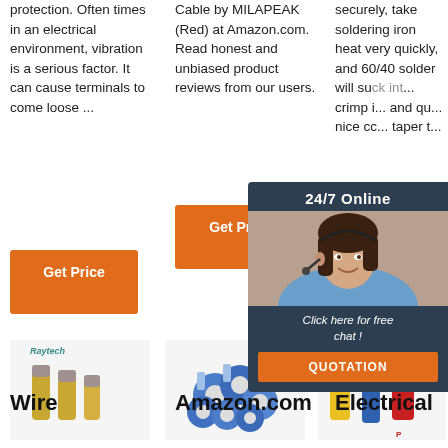protection. Often times in an electrical environment, vibration is a serious factor. It can cause terminals to come loose ...
Cable by MILAPEAK (Red) at Amazon.com. Read honest and unbiased product reviews from our users.
securely, take soldering iron heat very quickly, and 60/40 solder will suck into the crimp in seconds, and quickly make nice connections, taper to ...
Get Price
Get Price
Get ...
[Figure (photo): Product photo of Raytech gold/clear bullet connectors]
[Figure (photo): Product photo showing pile of blue ring crimp terminals]
[Figure (photo): Product photo of yellow, blue, and red wire ferrule connectors]
[Figure (photo): Chat widget with woman wearing headset, 24/7 Online header, Click here for free chat text, QUOTATION button]
Wire
Amazon.com
Electrical